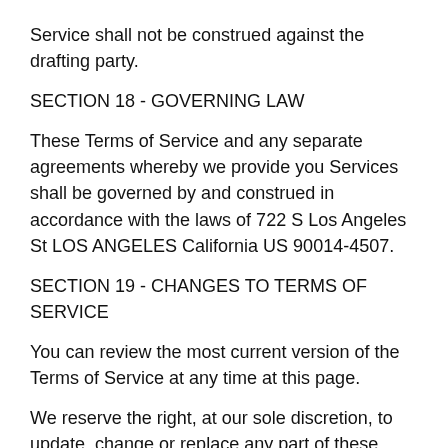Service shall not be construed against the drafting party.
SECTION 18 - GOVERNING LAW
These Terms of Service and any separate agreements whereby we provide you Services shall be governed by and construed in accordance with the laws of 722 S Los Angeles St LOS ANGELES California US 90014-4507.
SECTION 19 - CHANGES TO TERMS OF SERVICE
You can review the most current version of the Terms of Service at any time at this page.
We reserve the right, at our sole discretion, to update, change or replace any part of these Terms of Service by posting updates and changes to our website. It is